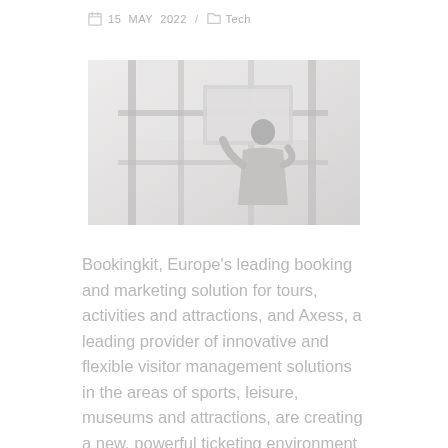15 MAY 2022 / Tech
[Figure (photo): Person using a touchscreen kiosk or display terminal in a modern glass structure, viewed from behind.]
Bookingkit, Europe's leading booking and marketing solution for tours, activities and attractions, and Axess, a leading provider of innovative and flexible visitor management solutions in the areas of sports, leisure, museums and attractions, are creating a new, powerful ticketing environment by connecting their systems for attractions throughout